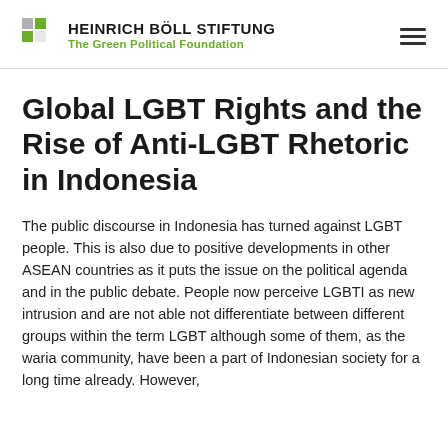HEINRICH BÖLL STIFTUNG The Green Political Foundation
Global LGBT Rights and the Rise of Anti-LGBT Rhetoric in Indonesia
The public discourse in Indonesia has turned against LGBT people. This is also due to positive developments in other ASEAN countries as it puts the issue on the political agenda and in the public debate. People now perceive LGBTI as new intrusion and are not able not differentiate between different groups within the term LGBT although some of them, as the waria community, have been a part of Indonesian society for a long time already. However,